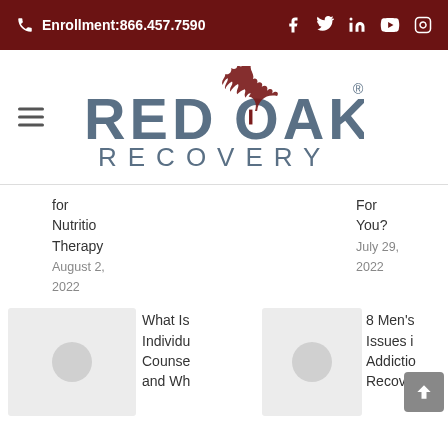Enrollment: 866.457.7590
[Figure (logo): Red Oak Recovery logo with red maple leaf between RED and OAK text, RECOVERY below]
for Nutrition Therapy August 2022
For You? July 29, 2022
[Figure (photo): Thumbnail image placeholder with circle icon]
What Is Individual Counseling and Wh
[Figure (photo): Thumbnail image placeholder with circle icon]
8 Men's Issues in Addiction Recovery